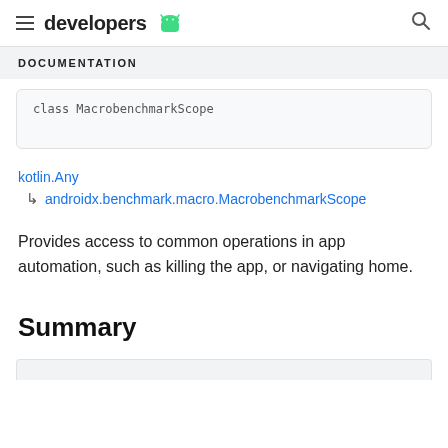developers
DOCUMENTATION
class MacrobenchmarkScope
kotlin.Any
↳ androidx.benchmark.macro.MacrobenchmarkScope
Provides access to common operations in app automation, such as killing the app, or navigating home.
Summary